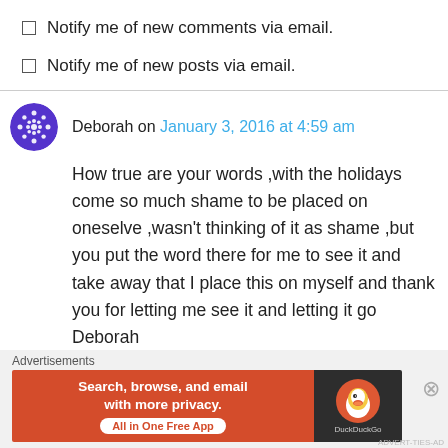Notify me of new comments via email.
Notify me of new posts via email.
Deborah on January 3, 2016 at 4:59 am
How true are your words ,with the holidays come so much shame to be placed on oneselve ,wasn't thinking of it as shame ,but you put the word there for me to see it and take away that I place this on myself and thank you for letting me see it and letting it go Deborah
Like
Advertisements
[Figure (screenshot): DuckDuckGo advertisement banner: orange section with text 'Search, browse, and email with more privacy. All in One Free App', dark section with DuckDuckGo logo and duck icon.]